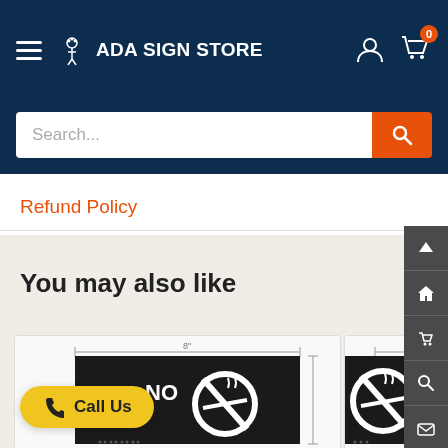ADA SIGN STORE
Search...
Refund Policy
You may also like
[Figure (screenshot): No Smoking ADA sign product card with dimension markings showing 8 inch width]
[Figure (screenshot): Second No Smoking ADA sign product card partially visible, also showing 8 inch width marking]
Call Us